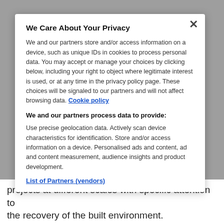We Care About Your Privacy
We and our partners store and/or access information on a device, such as unique IDs in cookies to process personal data. You may accept or manage your choices by clicking below, including your right to object where legitimate interest is used, or at any time in the privacy policy page. These choices will be signaled to our partners and will not affect browsing data. Cookie policy
We and our partners process data to provide:
Use precise geolocation data. Actively scan device characteristics for identification. Store and/or access information on a device. Personalised ads and content, ad and content measurement, audience insights and product development.
List of Partners (vendors)
projects at different scales with specific attention to the recovery of the built environment.